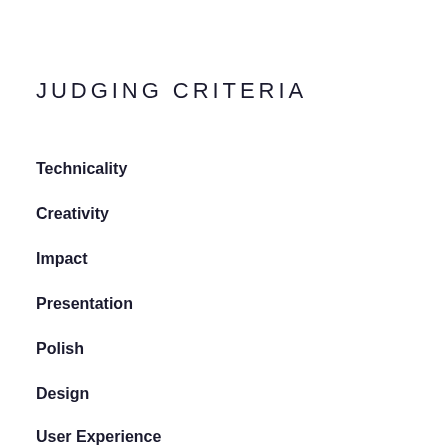JUDGING CRITERIA
Technicality
Creativity
Impact
Presentation
Polish
Design
User Experience